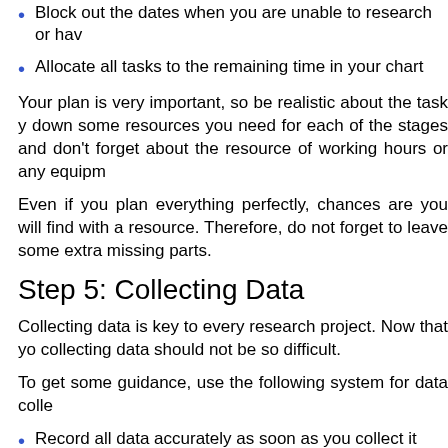Block out the dates when you are unable to research or hav
Allocate all tasks to the remaining time in your chart
Your plan is very important, so be realistic about the task y down some resources you need for each of the stages and don't forget about the resource of working hours or any equipm
Even if you plan everything perfectly, chances are you will find with a resource. Therefore, do not forget to leave some extra missing parts.
Step 5: Collecting Data
Collecting data is key to every research project. Now that yo collecting data should not be so difficult.
To get some guidance, use the following system for data colle
Record all data accurately as soon as you collect it
Analyze and compare all data you have collected